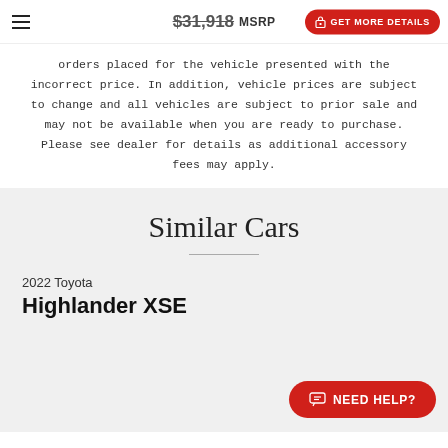$31,918 MSRP  GET MORE DETAILS
orders placed for the vehicle presented with the incorrect price. In addition, vehicle prices are subject to change and all vehicles are subject to prior sale and may not be available when you are ready to purchase. Please see dealer for details as additional accessory fees may apply.
Similar Cars
2022 Toyota Highlander XSE